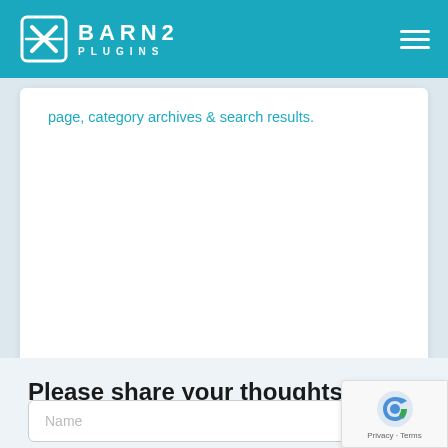BARN2 PLUGINS
page, category archives & search results.
Please share your thoughts...
Your email address will not be published.
Name
Email